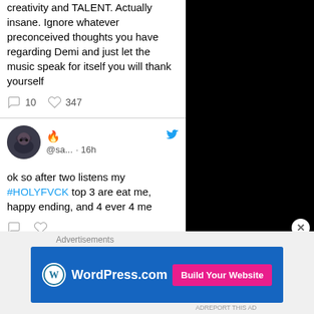creativity and TALENT. Actually insane. Ignore whatever preconceived thoughts you have regarding Demi and just let the music speak for itself you will thank yourself
10  347
🔥 @sa... · 16h
ok so after two listens my #HOLYFVCK  top 3 are eat me, happy ending, and 4 ever 4 me
Advertisements
[Figure (logo): WordPress.com advertisement banner with blue background, WordPress logo on left, and pink 'Build Your Website' button on right]